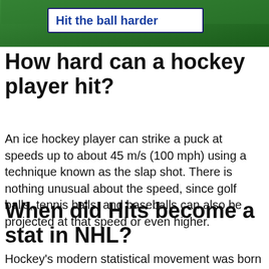[Figure (photo): Green background image (likely a sports field or hockey rink) with a white label box containing the bold blue text 'Hit the ball harder']
How hard can a hockey player hit?
An ice hockey player can strike a puck at speeds up to about 45 m/s (100 mph) using a technique known as the slap shot. There is nothing unusual about the speed, since golf balls, tennis balls, and baseballs can also be projected at that speed or even higher.
When did Hits become a stat in NHL?
Hockey's modern statistical movement was born in 1997, when the N.H.L. started using